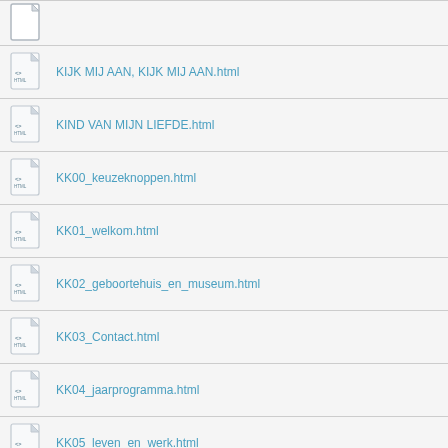KIJK MIJ AAN, KIJK MIJ AAN.html
KIND VAN MIJN LIEFDE.html
KK00_keuzeknoppen.html
KK01_welkom.html
KK02_geboortehuis_en_museum.html
KK03_Contact.html
KK04_jaarprogramma.html
KK05_leven_en_werk.html
KK06_Bibliografie.html